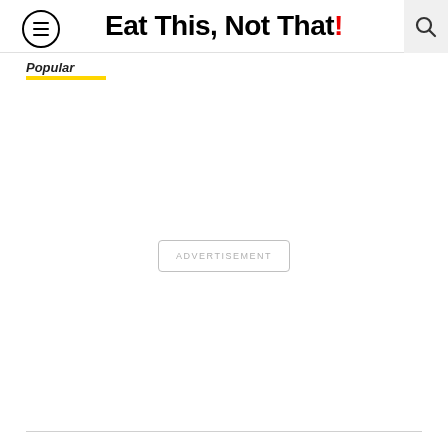Eat This, Not That!
Popular
[Figure (other): Advertisement placeholder box with text 'ADVERTISEMENT']